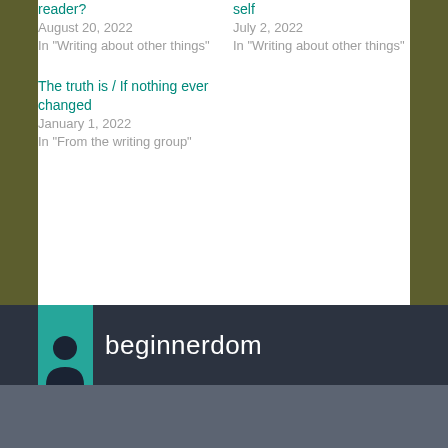reader?
August 20, 2022
In "Writing about other things"
self
July 2, 2022
In "Writing about other things"
The truth is / If nothing ever changed
January 1, 2022
In "From the writing group"
beginnerdom
July 5, 2016